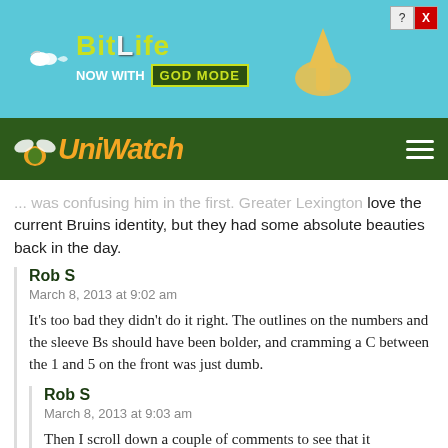[Figure (screenshot): BitLife advertisement banner — teal background with BitLife logo, 'NOW WITH GOD MODE' text, sperm icon, hand/finger pointing icon, and close/help buttons]
[Figure (logo): UniWatch navigation bar with green background, UniWatch logo in orange cursive with bee/wing icon, and hamburger menu icon]
... was confusing him in the first. Greater Lexington love the current Bruins identity, but they had some absolute beauties back in the day.
Rob S
March 8, 2013 at 9:02 am
It's too bad they didn't do it right. The outlines on the numbers and the sleeve Bs should have been bolder, and cramming a C between the 1 and 5 on the front was just dumb.
Rob S
March 8, 2013 at 9:03 am
Then I scroll down a couple of comments to see that it DID ... ers at so... but it still looks dumb.
[Figure (screenshot): BitLife advertisement banner (bottom) — same as top banner, partially overlaid with X close button]